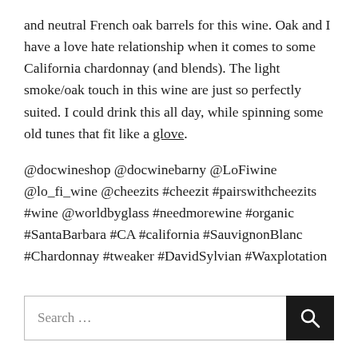and neutral French oak barrels for this wine. Oak and I have a love hate relationship when it comes to some California chardonnay (and blends). The light smoke/oak touch in this wine are just so perfectly suited. I could drink this all day, while spinning some old tunes that fit like a glove.
@docwineshop @docwinebarny @LoFiwine @lo_fi_wine @cheezits #cheezit #pairswithcheezits #wine @worldbyglass #needmorewine #organic #SantaBarbara #CA #california #SauvignonBlanc #Chardonnay #tweaker #DavidSylvian #Waxplotation